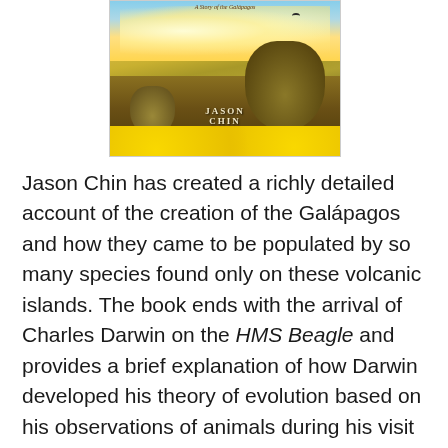[Figure (illustration): Book cover illustration showing Galápagos giant tortoises in a golden landscape with yellow flowers, clouds, and a bird. Text reads 'A Story of the Galápagos' at top and 'Jason Chin' at bottom.]
Jason Chin has created a richly detailed account of the creation of the Galápagos and how they came to be populated by so many species found only on these volcanic islands. The book ends with the arrival of Charles Darwin on the HMS Beagle and provides a brief explanation of how Darwin developed his theory of evolution based on his observations of animals during his visit to the islands.